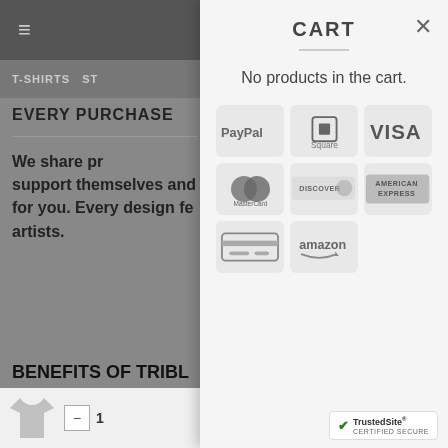[Figure (screenshot): Dimmed e-commerce website background showing navigation header with hamburger menu, T-SHIRTS navigation item, EVERY PURCHASE heading, body text about sharing profits with artists, BENEFITS OF TRIBL SHIRTS section heading, and a bottom bar with t-shirt icon and quantity controls]
CART
No products in the cart.
[Figure (infographic): Payment method icons grid: PayPal, Square, VISA, MasterCard, Discover, American Express, generic credit card, Amazon]
[Figure (logo): TrustedSite CERTIFIED SECURE badge]